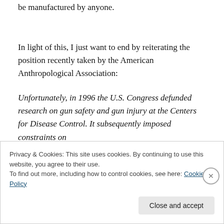be manufactured by anyone.
In light of this, I just want to end by reiterating the position recently taken by the American Anthropological Association:
Unfortunately, in 1996 the U.S. Congress defunded research on gun safety and gun injury at the Centers for Disease Control. It subsequently imposed constraints on
Privacy & Cookies: This site uses cookies. By continuing to use this website, you agree to their use.
To find out more, including how to control cookies, see here: Cookie Policy
Close and accept